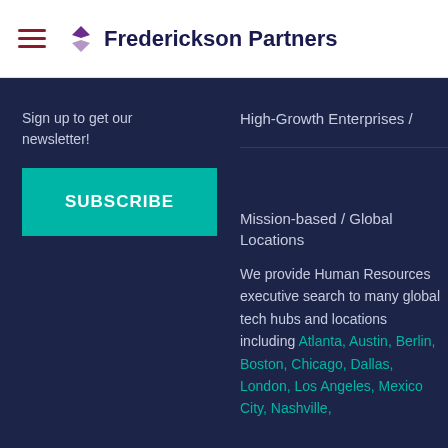Frederickson Partners
Sign up to get our newsletter!
SUBSCRIBE
High-Growth Enterprises /
Mission-based / Global Locations
We provide Human Resources executive search to many global tech hubs and locations including Atlanta, Austin, Berlin, Boston, Chicago, Dallas, London, Los Angeles, Mexico City, Nashville,